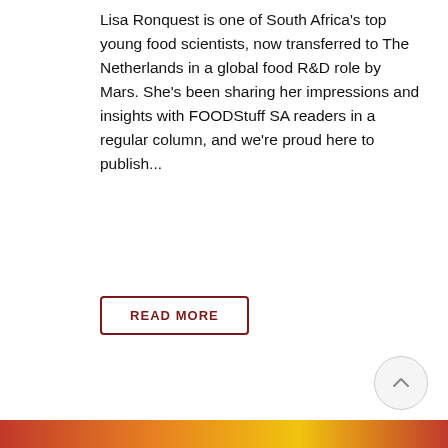Lisa Ronquest is one of South Africa's top young food scientists, now transferred to The Netherlands in a global food R&D role by Mars. She's been sharing her impressions and insights with FOODStuff SA readers in a regular column, and we're proud here to publish...
READ MORE
[Figure (other): Scroll-to-top button: circular grey bordered button with an upward arrow icon]
[Figure (photo): Partial bottom image strip showing red, orange and yellow colors, likely a food photo]